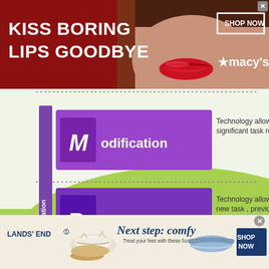[Figure (infographic): Macy's advertisement banner: 'KISS BORING LIPS GOODBYE' with woman's face and red lips on dark red background, SHOP NOW button and Macy's star logo]
[Figure (infographic): SAMR Model diagram showing Modification and Redefinition levels with purple boxes on green background. Transformation label on left side. Modification: Technology allows for significant task redesign. Redefinition: Technology allows creation of new task, previously inconceivable.]
8 Examples of Transforming Lessons Through the SAMR Cycle
Examples of Applying the SAMR Model can Help Teachers Understand and Embrace it
The SAMR Model for...
[Figure (infographic): Lands' End advertisement: 'Next step: comfy - Treat your feet with these footwear faves.' SHOP NOW button, showing white sandal and blue slide sandal shoes.]